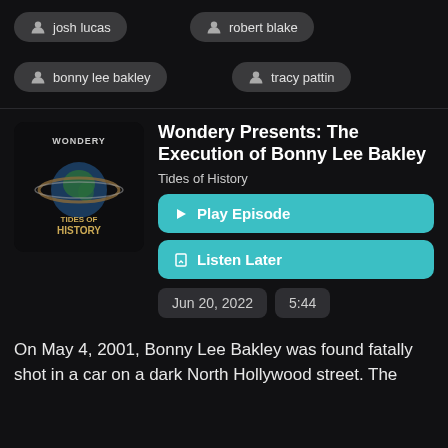josh lucas
robert blake
bonny lee bakley
tracy pattin
[Figure (illustration): Wondery Tides of History podcast cover art showing a globe with rings and the text TIDES OF HISTORY]
Wondery Presents: The Execution of Bonny Lee Bakley
Tides of History
Play Episode
Listen Later
Jun 20, 2022
5:44
On May 4, 2001, Bonny Lee Bakley was found fatally shot in a car on a dark North Hollywood street. The